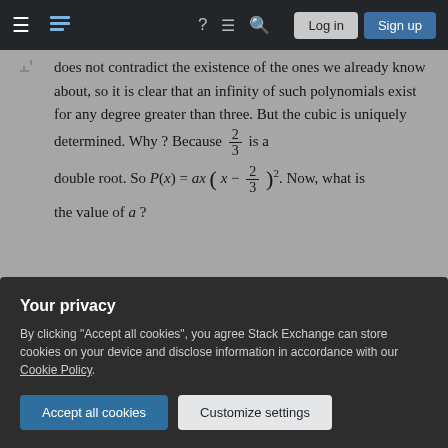Stack Exchange navigation bar with Log in and Sign up
does not contradict the existence of the ones we already know about, so it is clear that an infinity of such polynomials exist for any degree greater than three. But the cubic is uniquely determined. Why ? Because 2/3 is a double root. So P(x) = ax(x − 2/3)². Now, what is the value of a ?
Share  Cite  Follow    answered Dec 31, 2014 at 21:00  Lucian  47k ● 1  70 ▲ 140
Your privacy
By clicking "Accept all cookies", you agree Stack Exchange can store cookies on your device and disclose information in accordance with our Cookie Policy.